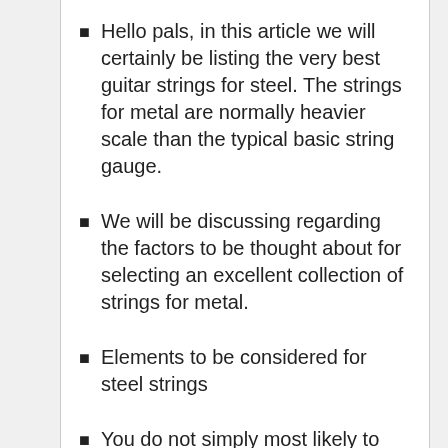Hello pals, in this article we will certainly be listing the very best guitar strings for steel. The strings for metal are normally heavier scale than the typical basic string gauge.
We will be discussing regarding the factors to be thought about for selecting an excellent collection of strings for metal.
Elements to be considered for steel strings
You do not simply most likely to the shop as well as request for a steel strings for your electric guitar. You must think about these factors when